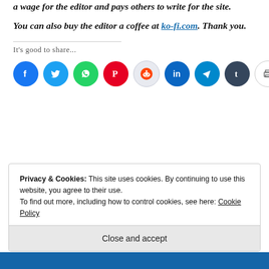a wage for the editor and pays others to write for the site.
You can also buy the editor a coffee at ko-fi.com. Thank you.
It's good to share...
[Figure (infographic): Social sharing icon buttons: Facebook (blue), Twitter (blue), WhatsApp (green), Pinterest (red), Reddit (light blue/white), LinkedIn (blue), Telegram (blue), Tumblr (dark navy), Print (white/grey), Email (white/grey)]
Privacy & Cookies: This site uses cookies. By continuing to use this website, you agree to their use.
To find out more, including how to control cookies, see here: Cookie Policy
Close and accept